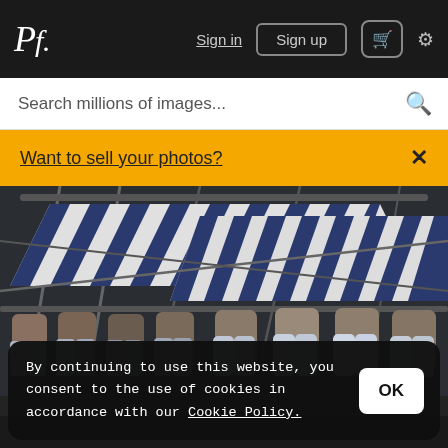Pf. | Sign in | Sign up | [cart] | [settings]
Search millions of images...
Want to sell your photos?
[Figure (photo): Outdoor market stall with blue and white striped awning, mannequins or display figures wearing jeans, viewed from behind]
By continuing to use this website, you consent to the use of cookies in accordance with our Cookie Policy.
OK